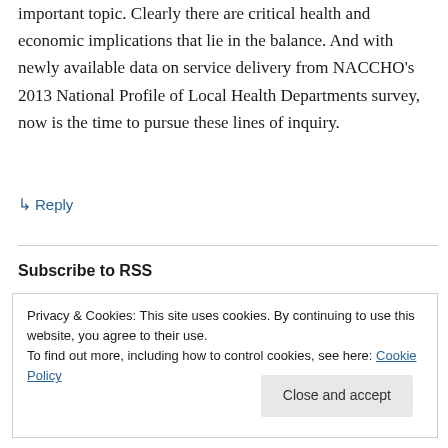important topic. Clearly there are critical health and economic implications that lie in the balance. And with newly available data on service delivery from NACCHO's 2013 National Profile of Local Health Departments survey, now is the time to pursue these lines of inquiry.
↪ Reply
Subscribe to RSS
Privacy & Cookies: This site uses cookies. By continuing to use this website, you agree to their use.
To find out more, including how to control cookies, see here: Cookie Policy
Close and accept